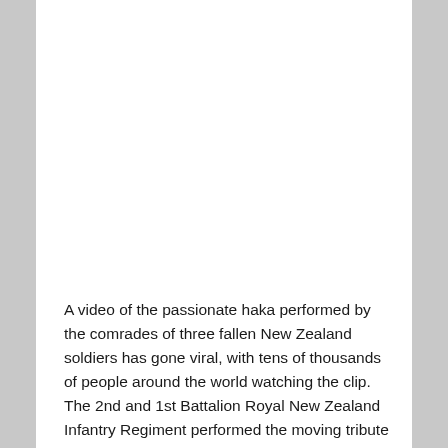A video of the passionate haka performed by the comrades of three fallen New Zealand soldiers has gone viral, with tens of thousands of people around the world watching the clip. The 2nd and 1st Battalion Royal New Zealand Infantry Regiment performed the moving tribute for Corporal Luke Tamatea, 31, Lance Corporal Jacinda Baker, 26, and Private